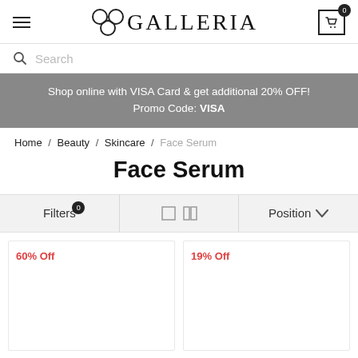GALLERIA (logo)
Search
Shop online with VISA Card & get additional 20% OFF! Promo Code: VISA
Home / Beauty / Skincare / Face Serum
Face Serum
Filters  Position
60% Off
19% Off